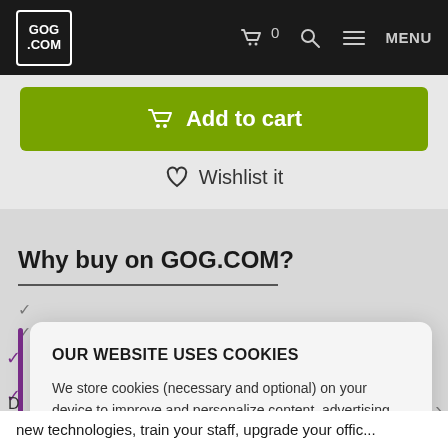GOG.COM
Add to cart
Wishlist it
Why buy on GOG.COM?
OUR WEBSITE USES COOKIES
We store cookies (necessary and optional) on your device to improve and personalize content, advertising and analyze our traffic. Click "Settings" to review and change your preferences. See our Privacy Policy.
Settings
Accept all cookies
new technologies, train your staff, upgrade your offic...